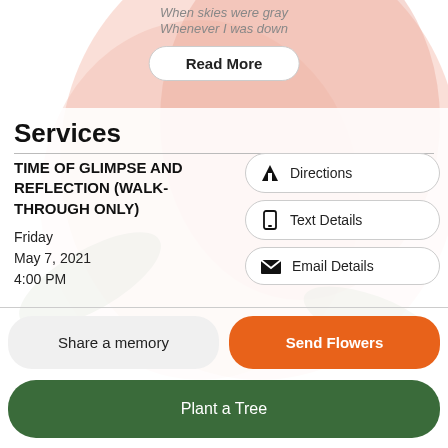When skies were gray
Whenever I was down
Read More
Services
TIME OF GLIMPSE AND REFLECTION (WALK-THROUGH ONLY)
Friday
May 7, 2021
4:00 PM
Directions
Text Details
Email Details
Share a memory
Send Flowers
Plant a Tree